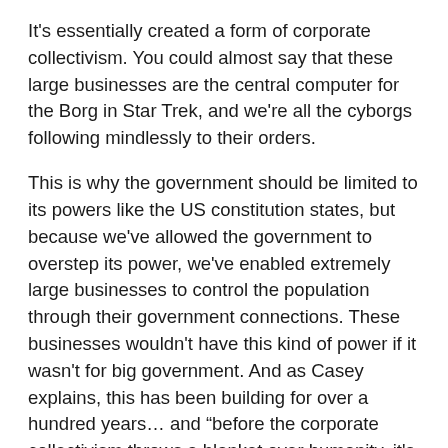It's essentially created a form of corporate collectivism. You could almost say that these large businesses are the central computer for the Borg in Star Trek, and we're all the cyborgs following mindlessly to their orders.
This is why the government should be limited to its powers like the US constitution states, but because we've allowed the government to overstep its power, we've enabled extremely large businesses to control the population through their government connections. These businesses wouldn't have this kind of power if it wasn't for big government. And as Casey explains, this has been building for over a hundred years… and "before the corporate collectivism throws a blanket over humanity, it's time to seek a means to fall outside the perimeter of the blanket."
Feels to me like this last year was the final move toward checkmate in assimilating us all. But there are